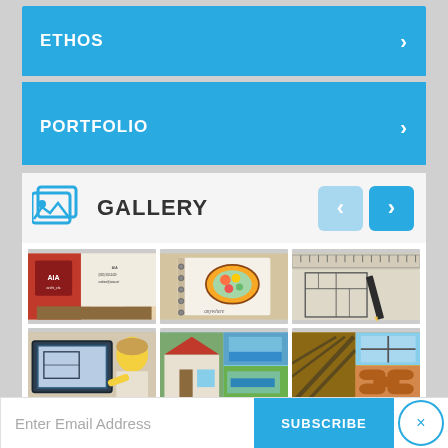ETHOS >
PORTFOLIO >
GALLERY
[Figure (photo): Photo grid showing: architect man at desk with AIA banner, sketchbook with illustrated food design, blueprint drawings with ruler and pencil, person viewing architectural drawings on tablet, collage of house exterior photos, roofing structure photos]
Enter Email Address
SUBSCRIBE